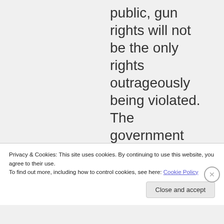public, gun rights will not be the only rights outrageously being violated. The government simply does not have the ability to
Privacy & Cookies: This site uses cookies. By continuing to use this website, you agree to their use.
To find out more, including how to control cookies, see here: Cookie Policy
Close and accept